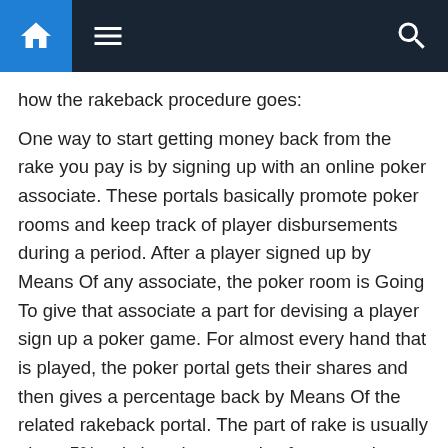Navigation bar with home, menu, and search icons
how the rakeback procedure goes:
One way to start getting money back from the rake you pay is by signing up with an online poker associate. These portals basically promote poker rooms and keep track of player disbursements during a period. After a player signed up by Means Of any associate, the poker room is Going To give that associate a part for devising a player sign up a poker game. For almost every hand that is played, the poker portal gets their shares and then gives a percentage back by Means Of the related rakeback portal. The part of rake is usually about 5% only but always varies from portal to portal. The game is not about winning and losing as it is genuinely all about devising earnings by Means Of poker rakeback.
Even though 5% may not be that of a big amount , if you watch the increasing fame of pokers and the growing